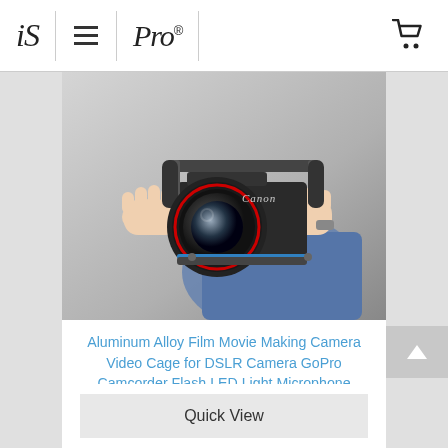iS ≡ Pro® 🛒
[Figure (photo): Person holding a Canon DSLR camera in a metal video cage/rig with two handles, fitted with a wide-angle lens]
Aluminum Alloy Film Movie Making Camera Video Cage for DSLR Camera GoPro Camcorder Flash LED Light Microphone
★★★★★
$39.99USD
SKU: CC-8846
Quick View